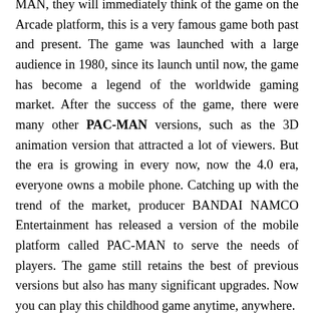MAN, they will immediately think of the game on the Arcade platform, this is a very famous game both past and present. The game was launched with a large audience in 1980, since its launch until now, the game has become a legend of the worldwide gaming market. After the success of the game, there were many other PAC-MAN versions, such as the 3D animation version that attracted a lot of viewers. But the era is growing in every now, now the 4.0 era, everyone owns a mobile phone. Catching up with the trend of the market, producer BANDAI NAMCO Entertainment has released a version of the mobile platform called PAC-MAN to serve the needs of players. The game still retains the best of previous versions but also has many significant upgrades. Now you can play this childhood game anytime, anywhere.